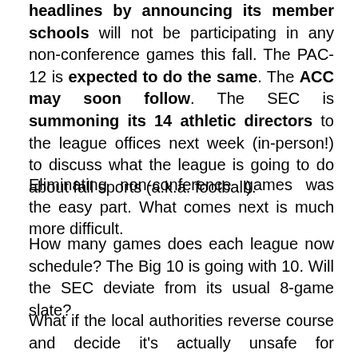headlines by announcing its member schools will not be participating in any non-conference games this fall. The PAC-12 is expected to do the same. The ACC may soon follow. The SEC is summoning its 14 athletic directors to the league offices next week (in-person!) to discuss what the league is going to do about fall sports (a.k.a. football).
Eliminating non-conference games was the easy part. What comes next is much more difficult.
How many games does each league now schedule? The Big 10 is going with 10. Will the SEC deviate from its usual 8-game slate?
What if the local authorities reverse course and decide it's actually unsafe for institutions to bring students back on campus? Does college football march on?